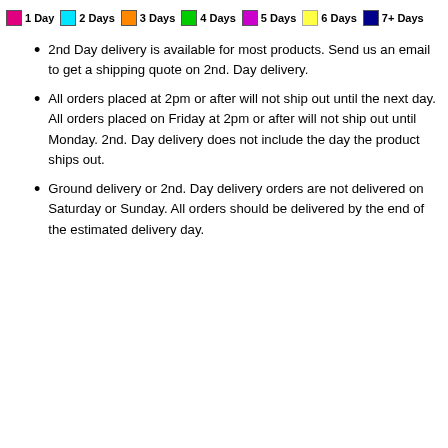[Figure (other): Color legend showing delivery day categories: 1 Day (magenta/pink), 2 Days (cyan), 3 Days (orange), 4 Days (green), 5 Days (purple/magenta), 6 Days (yellow), 7+ Days (dark blue)]
2nd Day delivery is available for most products. Send us an email to get a shipping quote on 2nd. Day delivery.
All orders placed at 2pm or after will not ship out until the next day. All orders placed on Friday at 2pm or after will not ship out until Monday. 2nd. Day delivery does not include the day the product ships out.
Ground delivery or 2nd. Day delivery orders are not delivered on Saturday or Sunday. All orders should be delivered by the end of the estimated delivery day.